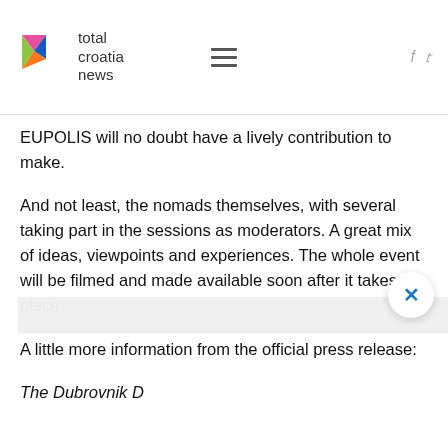total croatia news
EUPOLIS will no doubt have a lively contribution to make.
And not least, the nomads themselves, with several taking part in the sessions as moderators. A great mix of ideas, viewpoints and experiences. The whole event will be filmed and made available soon after it takes place.
A little more information from the official press release:
The Dubrovnik D